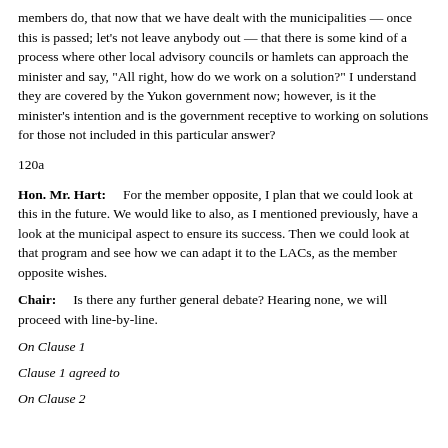members do, that now that we have dealt with the municipalities — once this is passed; let's not leave anybody out — that there is some kind of a process where other local advisory councils or hamlets can approach the minister and say, "All right, how do we work on a solution?" I understand they are covered by the Yukon government now; however, is it the minister's intention and is the government receptive to working on solutions for those not included in this particular answer?
120a
Hon. Mr. Hart:      For the member opposite, I plan that we could look at this in the future. We would like to also, as I mentioned previously, have a look at the municipal aspect to ensure its success. Then we could look at that program and see how we can adapt it to the LACs, as the member opposite wishes.
Chair:      Is there any further general debate? Hearing none, we will proceed with line-by-line.
On Clause 1
Clause 1 agreed to
On Clause 2